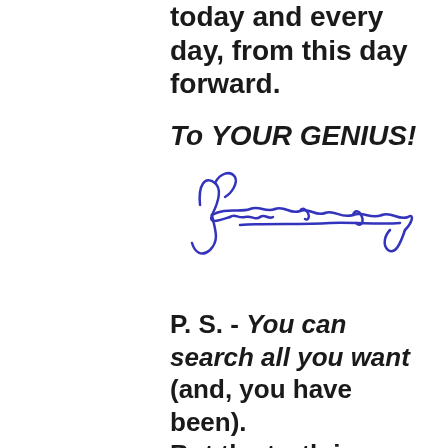today and every day, from this day forward.
To YOUR GENIUS!
[Figure (illustration): A handwritten cursive signature in blue ink, appearing to read 'Juliitm' or similar stylized name]
P. S. - You can search all you want (and, you have been). But the truth is, you simply won't find a more